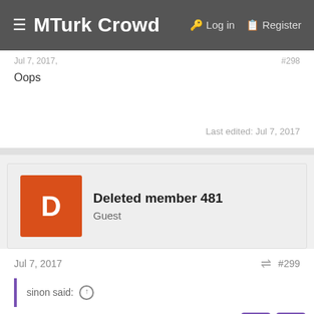MTurk Crowd   Log in   Register
Jul 7, 2017,   #298
Oops
Last edited: Jul 7, 2017
Deleted member 481
Guest
Jul 7, 2017   #299
sinon said: ↑